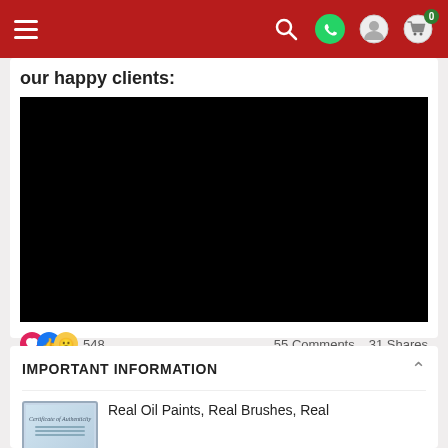Navigation bar with hamburger menu, search, whatsapp, profile, and cart icons
our happy clients:
[Figure (photo): Black video player area showing a video for happy clients]
548   55 Comments  31 Shares
IMPORTANT INFORMATION
Real Oil Paints, Real Brushes, Real